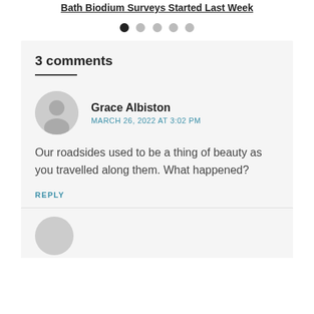Bath Biodium Surveys Started Last Week
[Figure (other): Pagination dots: 5 dots, first filled black, rest gray]
3 comments
Grace Albiston
MARCH 26, 2022 AT 3:02 PM
Our roadsides used to be a thing of beauty as you travelled along them. What happened?
REPLY